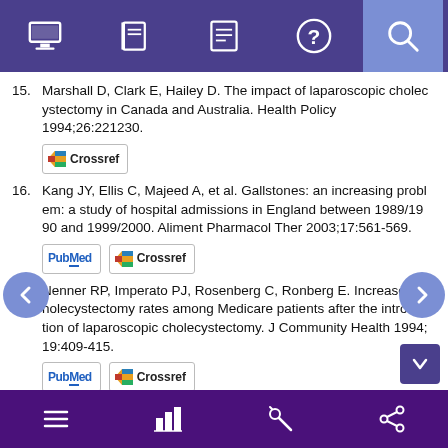Navigation header bar with icons
15. Marshall D, Clark E, Hailey D. The impact of laparoscopic cholecystectomy in Canada and Australia. Health Policy 1994;26:221230.
16. Kang JY, Ellis C, Majeed A, et al. Gallstones: an increasing problem: a study of hospital admissions in England between 1989/1990 and 1999/2000. Aliment Pharmacol Ther 2003;17:561-569.
17. Nenner RP, Imperato PJ, Rosenberg C, Ronberg E. Increased cholecystectomy rates among Medicare patients after the introduction of laparoscopic cholecystectomy. J Community Health 1994;19:409-415.
18. Russo MW, Wei JT, Thiny MT, et al. Digestive and liver diseases statistics, 2004. Gastroenterology 2004;126:1448-1453.
Bottom navigation bar with menu, chart, settings, share icons